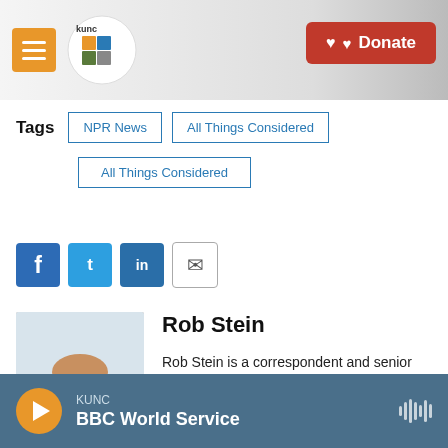KUNC — Donate
Tags  NPR News  All Things Considered  All Things Considered
[Figure (infographic): Social sharing buttons: Facebook, Twitter, LinkedIn, Email]
[Figure (photo): Headshot of Rob Stein, a bald man with glasses wearing a dark red sweater]
Rob Stein
Rob Stein is a correspondent and senior editor on NPR's science desk.
See stories by Rob Stein
KUNC  BBC World Service